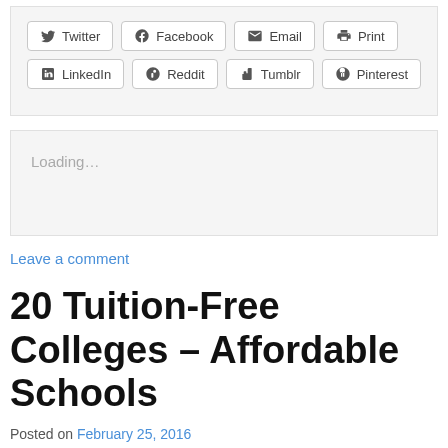[Figure (other): Social sharing buttons: Twitter, Facebook, Email, Print, LinkedIn, Reddit, Tumblr, Pinterest]
Loading…
Leave a comment
20 Tuition-Free Colleges – Affordable Schools
Posted on February 25, 2016